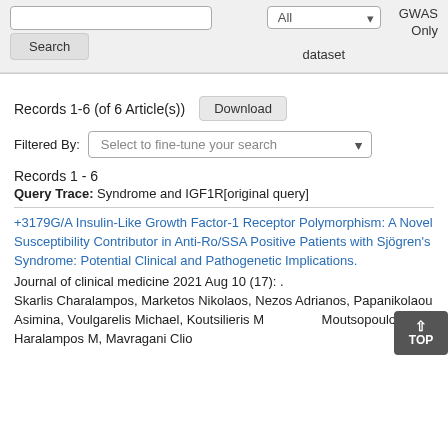[Figure (screenshot): Top search bar UI with Search button, dataset dropdown (All), and GWAS Only label]
Records 1-6 (of 6 Article(s))
Download
Filtered By: Select to fine-tune your search
Records 1 - 6
Query Trace: Syndrome and IGF1R[original query]
+3179G/A Insulin-Like Growth Factor-1 Receptor Polymorphism: A Novel Susceptibility Contributor in Anti-Ro/SSA Positive Patients with Sjögren's Syndrome: Potential Clinical and Pathogenetic Implications.
Journal of clinical medicine 2021 Aug 10 (17): .
Skarlis Charalampos, Marketos Nikolaos, Nezos Adrianos, Papanikolaou Asimina, Voulgarelis Michael, Koutsilieris M, Moutsopoulos Haralampos M, Mavragani Clio